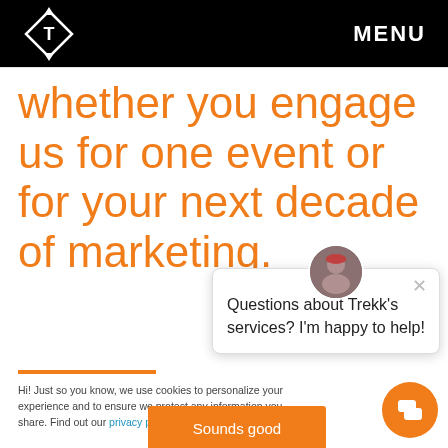[Figure (logo): Trekk logo: diamond/arrow shape with T inside, white on black background]
MENU
whether you engage us for one event or for your next decade of marketing.
[Figure (infographic): Chat popup with avatar photo and message: Questions about Trekk's services? I'm happy to help!]
Hi! Just so you know, we use cookies to personalize your experience and to ensure we protect any information you share. Find out our privacy policy.
[Figure (other): Sounds good button - orange CTA button]
[Figure (other): Orange chat FAB button with chat icon]